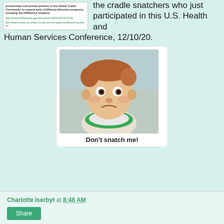[Figure (screenshot): Screenshot of a whitehouse.gov document with italic bold text about partnerships and early childhood education, with two green hyperlinks]
the cradle snatchers who just participated in this U.S. Health and Human Services Conference, 12/10/20.
[Figure (photo): Photo of a baby with a skeptical or displeased expression, wearing a green and white shirt, with caption 'Don't snatch me!']
Don't snatch me!
Charlotte Iserbyt at 8:46 AM
Share